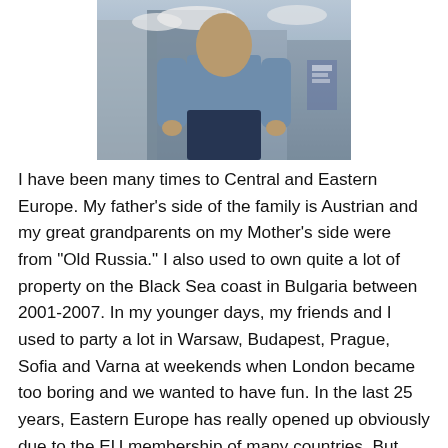[Figure (photo): A person standing outdoors in a light blue shirt and dark jeans, photographed from slightly below, with buildings and sky in the background.]
I have been many times to Central and Eastern Europe. My father's side of the family is Austrian and my great grandparents on my Mother's side were from "Old Russia." I also used to own quite a lot of property on the Black Sea coast in Bulgaria between 2001-2007. In my younger days, my friends and I used to party a lot in Warsaw, Budapest, Prague, Sofia and Varna at weekends when London became too boring and we wanted to have fun. In the last 25 years, Eastern Europe has really opened up obviously due to the EU membership of many countries. But what is interesting now is that I think a lot of Eastern Europeans like other parts of Europe have experienced the EU and are probably not as impressed